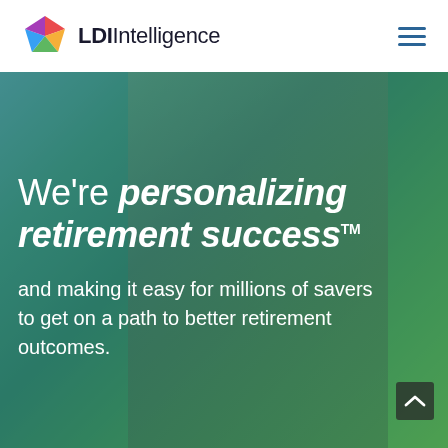LDI Intelligence
[Figure (photo): Hero image of a person with a backpack viewed from behind, standing in a natural outdoor landscape. The image has a teal-to-green color overlay gradient.]
We're personalizing retirement success™
and making it easy for millions of savers to get on a path to better retirement outcomes.